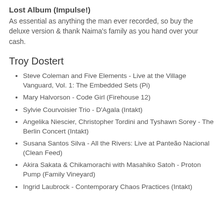Lost Album (Impulse!)
As essential as anything the man ever recorded, so buy the deluxe version & thank Naima's family as you hand over your cash.
Troy Dostert
Steve Coleman and Five Elements - Live at the Village Vanguard, Vol. 1: The Embedded Sets (Pi)
Mary Halvorson - Code Girl (Firehouse 12)
Sylvie Courvoisier Trio - D'Agala (Intakt)
Angelika Niescier, Christopher Tordini and Tyshawn Sorey - The Berlin Concert (Intakt)
Susana Santos Silva - All the Rivers: Live at Panteão Nacional (Clean Feed)
Akira Sakata & Chikamorachi with Masahiko Satoh - Proton Pump (Family Vineyard)
Ingrid Laubrock - Contemporary Chaos Practices (Intakt)